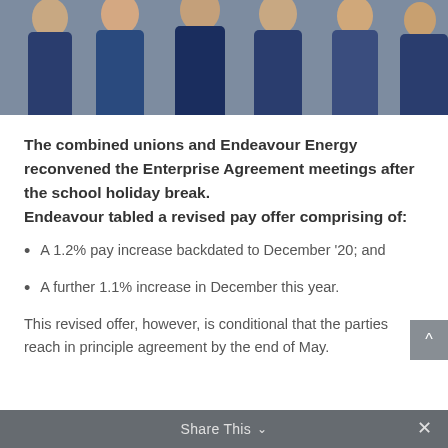[Figure (photo): Group photo showing multiple people wearing blue uniforms/shirts, cropped to show only lower torsos and legs]
The combined unions and Endeavour Energy reconvened the Enterprise Agreement meetings after the school holiday break. Endeavour tabled a revised pay offer comprising of:
A 1.2% pay increase backdated to December '20; and
A further 1.1% increase in December this year.
This revised offer, however, is conditional that the parties reach in principle agreement by the end of May.
Share This ∨